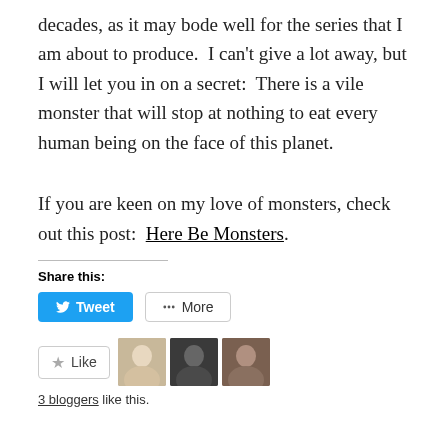decades, as it may bode well for the series that I am about to produce. I can't give a lot away, but I will let you in on a secret: There is a vile monster that will stop at nothing to eat every human being on the face of this planet.
If you are keen on my love of monsters, check out this post: Here Be Monsters.
Share this:
[Figure (other): Tweet button (blue) and More button (white with border) for sharing]
[Figure (other): Like button with star icon, three blogger avatar photos, and '3 bloggers like this.' text]